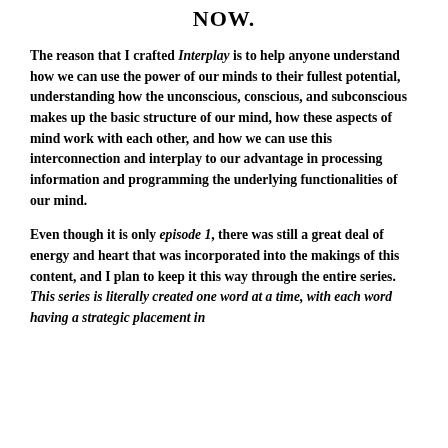NOW.
The reason that I crafted Interplay is to help anyone understand how we can use the power of our minds to their fullest potential, understanding how the unconscious, conscious, and subconscious makes up the basic structure of our mind, how these aspects of mind work with each other, and how we can use this interconnection and interplay to our advantage in processing information and programming the underlying functionalities of our mind.
Even though it is only episode 1, there was still a great deal of energy and heart that was incorporated into the makings of this content, and I plan to keep it this way through the entire series. This series is literally created one word at a time, with each word having a strategic placement in